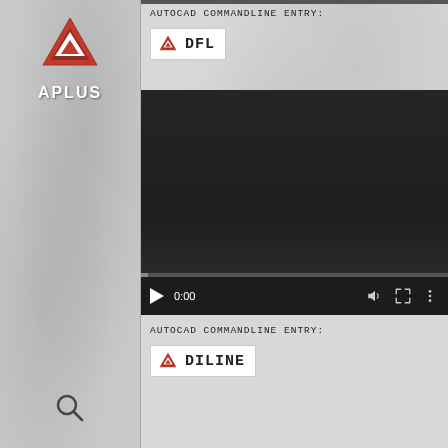[Figure (logo): APLUS logo with red triangle/arrow icon and white APLUS text on gray sidebar]
AUTOCAD COMMANDLINE ENTRY:
[Figure (screenshot): APLUS logo badge with text DFL]
[Figure (screenshot): Video player showing dark screen with playback controls, time 0:00, volume, fullscreen and more options icons, and a progress bar]
AUTOCAD COMMANDLINE ENTRY:
[Figure (screenshot): APLUS logo badge with text DILINE]